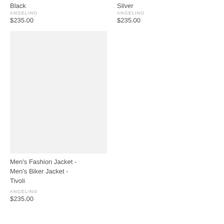Black
Silver
ANGELINO
$235.00
ANGELINO
$235.00
[Figure (photo): Product image placeholder - light gray rectangle for Men's Fashion Jacket - Men's Biker Jacket - Tivoli]
Men's Fashion Jacket - Men's Biker Jacket - Tivoli
ANGELINO
$235.00